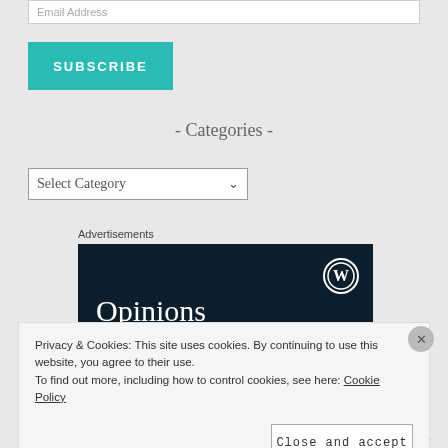Email Address
SUBSCRIBE
- Categories -
Select Category
Advertisements
[Figure (screenshot): Dark navy advertisement banner with WordPress logo and 'Opinions' text in white serif font]
Privacy & Cookies: This site uses cookies. By continuing to use this website, you agree to their use. To find out more, including how to control cookies, see here: Cookie Policy
Close and accept